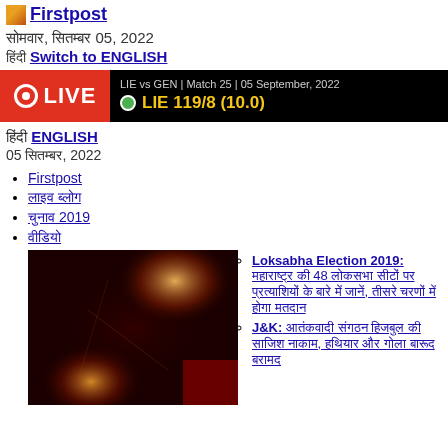Firstpost
सोमवार, सितंबर 05, 2022
हिंदी Switch to ENGLISH
[Figure (screenshot): LIVE cricket score bar: LIE vs GEN | Match 25 | 05 September, 2022 | LIE 119/8 (10.0)]
हिंदी ENGLISH
05 सितंबर, 2022
Firstpost
लाइव ब्लॉग
चुनाव 2019
वीडियो
[Figure (photo): Dark reddish image with glowing light spots, related to Loksabha Election 2019 article]
Loksabha Election 2019: महाराष्ट्र की 48 लोकसभा सीटों पर प्रत्याशियों के बारे में जानें, तीसरे चरणों में होगा मतदान
J&K: आतंकवादी संगठन हिजबुल की साजिश नाकाम, हथियार और गोला बारूद बरामद